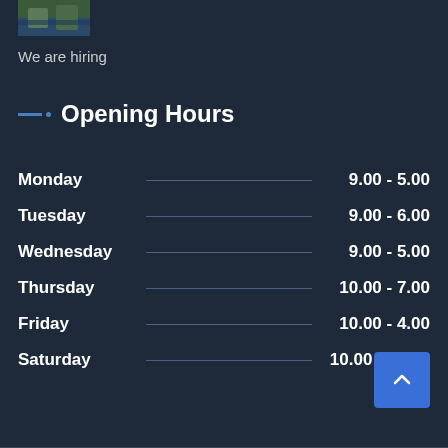[Figure (photo): Small thumbnail photo at the top left corner]
We are hiring
Opening Hours
Monday   9.00 - 5.00
Tuesday   9.00 - 6.00
Wednesday   9.00 - 5.00
Thursday   10.00 - 7.00
Friday   10.00 - 4.00
Saturday   10.00 - 12.00